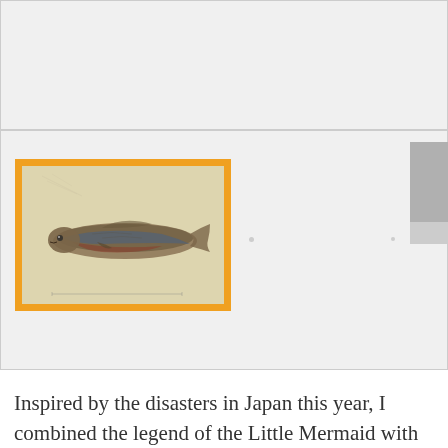[Figure (illustration): Top gray panel, empty]
[Figure (illustration): A painting or illustration of a fish (resembling a mackerel or sardine) on a yellowed/aged background, enclosed in an orange border frame. Two faint dots visible to the right of the image.]
Inspired by the disasters in Japan this year, I combined the legend of the Little Mermaid with the results of nuclear radiation. I think that maybe in the real world, mermaids are just fishes, being mutated by radiation.
I made 4 anatomy diagrams describing the process of a creature's development to convince people of the changes through a scientific approach. To